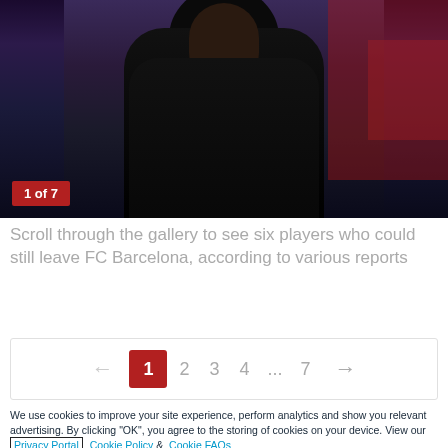[Figure (photo): Person wearing a dark hoodie/jacket, upper body shot against a blurred dark background with red tones. Badge overlay reads '1 of 7'.]
Scroll through the gallery to see six players who could still leave FC Barcelona, according to various reports
[Figure (other): Pagination control with left arrow, page numbers 1 (highlighted in red), 2, 3, 4, ..., 7, and right arrow]
We use cookies to improve your site experience, perform analytics and show you relevant advertising. By clicking "OK", you agree to the storing of cookies on your device. View our Privacy Portal  Cookie Policy &  Cookie FAQs
OK